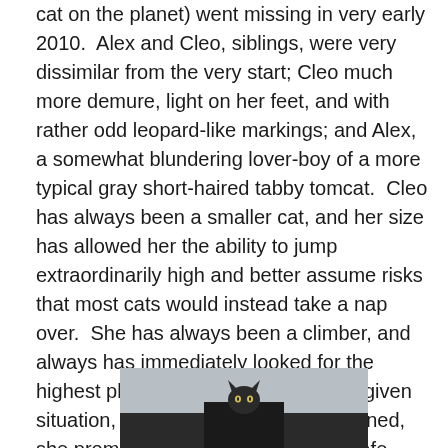cat on the planet) went missing in very early 2010.  Alex and Cleo, siblings, were very dissimilar from the very start; Cleo much more demure, light on her feet, and with rather odd leopard-like markings; and Alex, a somewhat blundering lover-boy of a more typical gray short-haired tabby tomcat.  Cleo has always been a smaller cat, and her size has allowed her the ability to jump extraordinarily high and better assume risks that most cats would instead take a nap over.  She has always been a climber, and always has immediately looked for the highest place she could attain in any given situation, and when that perch is attained, she promptly awards herself with a safe, quiet, and undisturbed catnap.
[Figure (photo): A cat perched on top of a dark piece of furniture, viewed from below against a light gray wall/ceiling background. The cat's face is visible peering over the edge.]